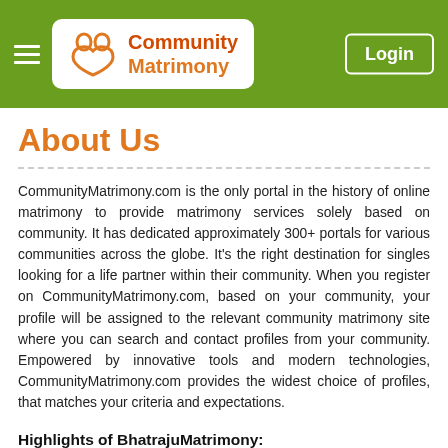Community Matrimony — Login
About Us
CommunityMatrimony.com is the only portal in the history of online matrimony to provide matrimony services solely based on community. It has dedicated approximately 300+ portals for various communities across the globe. It's the right destination for singles looking for a life partner within their community. When you register on CommunityMatrimony.com, based on your community, your profile will be assigned to the relevant community matrimony site where you can search and contact profiles from your community. Empowered by innovative tools and modern technologies, CommunityMatrimony.com provides the widest choice of profiles, that matches your criteria and expectations.
Highlights of BhatrajuMatrimony:
Global and wide set of profiles including NRIs
Free and easy profile registration
Safe and secure site. 100% privacy guaranteed